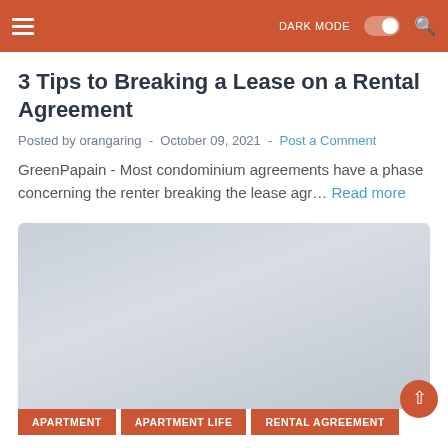DARK MODE [toggle] [search]
3 Tips to Breaking a Lease on a Rental Agreement
Posted by orangaring  -  October 09, 2021  -  Post a Comment
GreenPapain - Most condominium agreements have a phase concerning the renter breaking the lease agr… Read more
[Figure (photo): Gray placeholder image for article about breaking a lease on a rental agreement]
APARTMENT   APARTMENT LIFE   RENTAL AGREEMENT